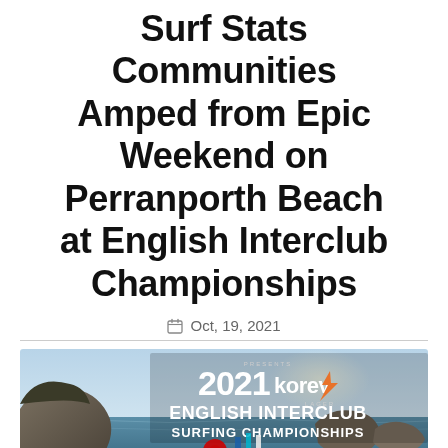Surf Stats Communities Amped from Epic Weekend on Perranporth Beach at English Interclub Championships
Oct, 19, 2021
[Figure (photo): Promotional banner for 2021 Korev Lager English Interclub Surfing Championships showing Perranporth beach with rocky outcrops, blue sky, sea, and sponsor logos including Caravan and Motorhome Club, Korev, Decathlon, Wave, and Dryrobe.]